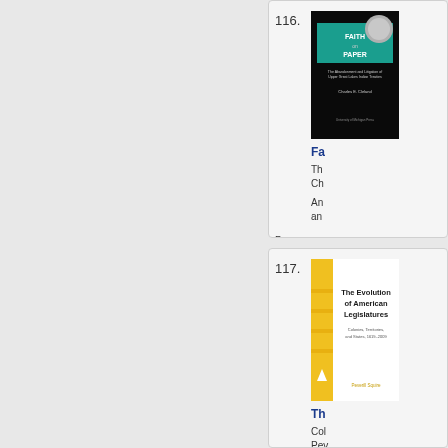116. Faith on Paper — The Abandonment and Litigation of Upper Great Lakes Indian Treaties. Charles E. Cleland. An exploration of the abandonment and subsequent litigation... Paperback Ebook
117. The Evolution of American Legislatures — Colonies, Territories, and States, 1619–2009. Peverill Squire. Squire examines historical political... Paperback Hardcover